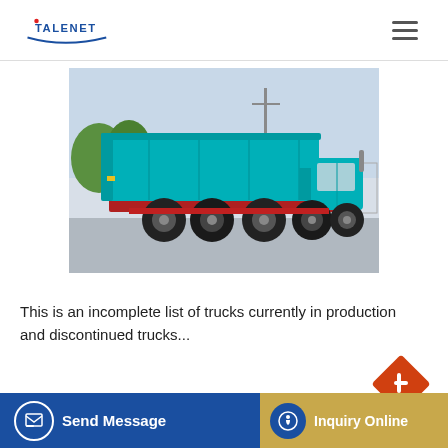TALENET
[Figure (photo): A teal/cyan colored dump truck (6-wheel heavy duty) parked on a road, side and rear view, with a red chassis frame visible.]
This is an incomplete list of trucks currently in production and discontinued trucks...
[Figure (other): Orange diamond-shaped chat button on the right side]
Send Message | Inquiry Online